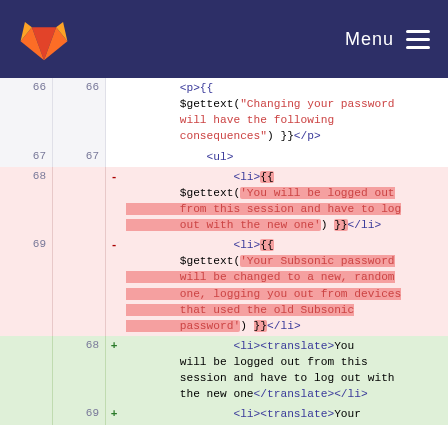GitLab — Menu
[Figure (screenshot): Code diff view showing lines 66-69 of a template file with deleted PHP gettext calls replaced by translate tags]
66  66    <p>{{ $gettext("Changing your password will have the following consequences") }}</p>
67  67    <ul>
68  -    <li>{{ $gettext('You will be logged out from this session and have to log out with the new one') }}</li>
69  -    <li>{{ $gettext('Your Subsonic password will be changed to a new, random one, logging you out from devices that used the old Subsonic password') }}</li>
68  +    <li><translate>You will be logged out from this session and have to log out with the new one</translate></li>
69  +    <li><translate>Your